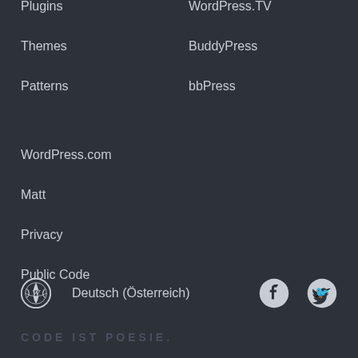Plugins
Themes
Patterns
WordPress.TV
BuddyPress
bbPress
WordPress.com
Matt
Privacy
Public Code
Deutsch (Österreich) CODE IST POESIE.